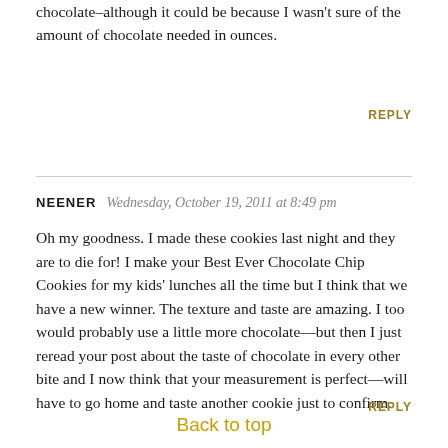chocolate–although it could be because I wasn't sure of the amount of chocolate needed in ounces.
REPLY
NEENER   Wednesday, October 19, 2011 at 8:49 pm
Oh my goodness. I made these cookies last night and they are to die for! I make your Best Ever Chocolate Chip Cookies for my kids' lunches all the time but I think that we have a new winner. The texture and taste are amazing. I too would probably use a little more chocolate—but then I just reread your post about the taste of chocolate in every other bite and I now think that your measurement is perfect—will have to go home and taste another cookie just to confirm.
REPLY
Back to top